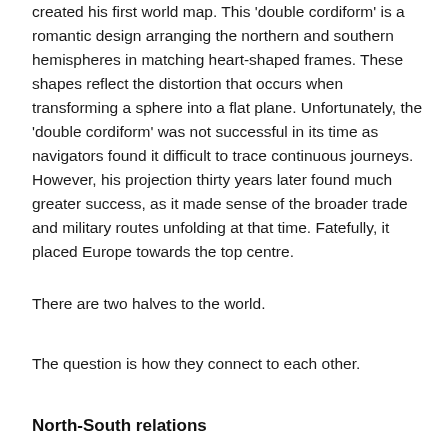created his first world map. This 'double cordiform' is a romantic design arranging the northern and southern hemispheres in matching heart-shaped frames. These shapes reflect the distortion that occurs when transforming a sphere into a flat plane. Unfortunately, the 'double cordiform' was not successful in its time as navigators found it difficult to trace continuous journeys. However, his projection thirty years later found much greater success, as it made sense of the broader trade and military routes unfolding at that time. Fatefully, it placed Europe towards the top centre.
There are two halves to the world.
The question is how they connect to each other.
North-South relations